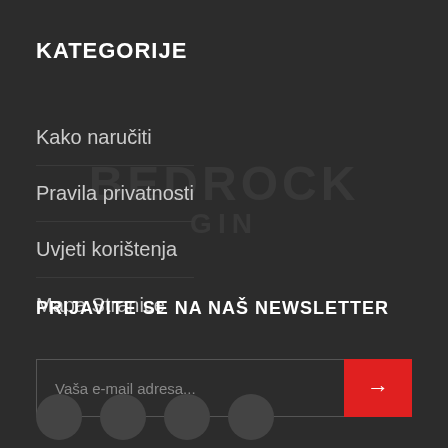KATEGORIJE
Kako naručiti
Pravila privatnosti
Uvjeti korištenja
Mapa Stranice
PRIJAVITE SE NA NAŠ NEWSLETTER
Vaša e-mail adresa...